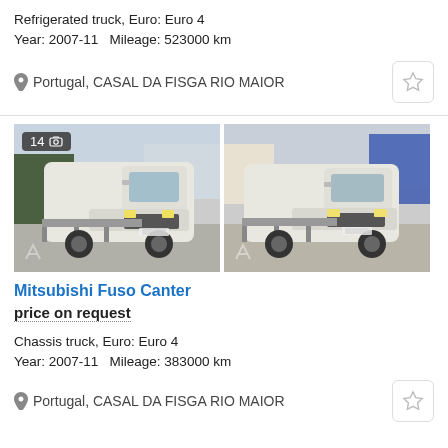Refrigerated truck, Euro: Euro 4
Year: 2007-11   Mileage: 523000 km
Portugal, CASAL DA FISGA RIO MAIOR
[Figure (photo): Two side-by-side photos of a white Mitsubishi Fuso Canter chassis truck in a parking area. Left photo has a badge showing '14' with a camera icon. Both images show the front-left view of the white cab-over truck.]
Mitsubishi Fuso Canter
price on request
Chassis truck, Euro: Euro 4
Year: 2007-11   Mileage: 383000 km
Portugal, CASAL DA FISGA RIO MAIOR